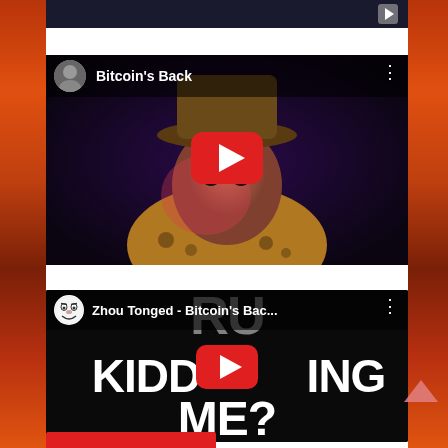[Figure (screenshot): Partially visible YouTube video thumbnail at top of page, dark background with play button]
[Figure (screenshot): YouTube video embed titled 'Bitcoin's Back' showing a person in colorful costume with hat, with YouTube play button overlay and channel avatar]
[Figure (screenshot): YouTube video embed titled 'Zhou Tonged - Bitcoin's Bac...' with troll face avatar, showing large text 'RU KIDDING ME?' on dark background with YouTube play button overlay]
[Figure (other): Scroll-to-top chevron arrow icon, pink/salmon color, bottom right]
[Figure (other): Partial red/orange element at bottom of page, likely a button or banner]